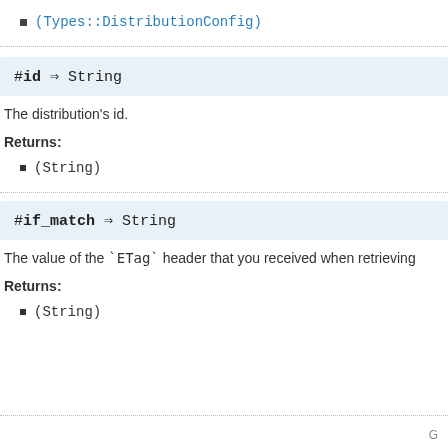(Types::DistributionConfig)
#id ⇒ String
The distribution's id.
Returns:
(String)
#if_match ⇒ String
The value of the `ETag` header that you received when retrieving
Returns:
(String)